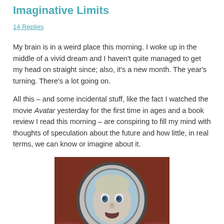Imaginative Limits
14 Replies
My brain is in a weird place this morning. I woke up in the middle of a vivid dream and I haven't quite managed to get my head on straight since; also, it's a new month. The year's turning. There's a lot going on.
All this – and some incidental stuff, like the fact I watched the movie Avatar yesterday for the first time in ages and a book review I read this morning – are conspiring to fill my mind with thoughts of speculation about the future and how little, in real terms, we can know or imagine about it.
[Figure (photo): A person in a space helmet/suit looking surprised or distressed, with reddish tones around the helmet visor showing a reflection or figure inside the glass.]